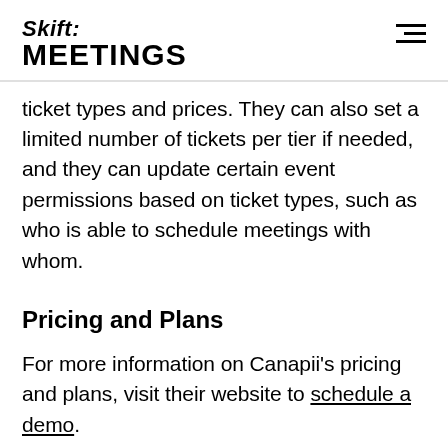Skift: MEETINGS
ticket types and prices. They can also set a limited number of tickets per tier if needed, and they can update certain event permissions based on ticket types, such as who is able to schedule meetings with whom.
Pricing and Plans
For more information on Canapii's pricing and plans, visit their website to schedule a demo.